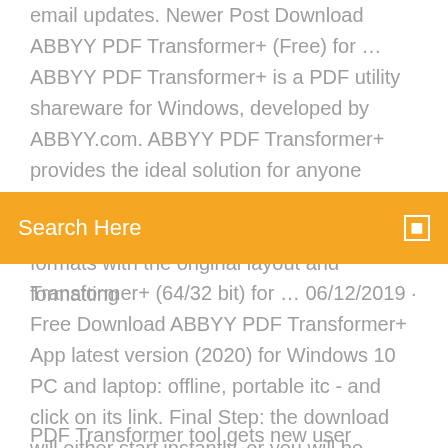email updates. Newer Post Download ABBYY PDF Transformer+ (Free) for … ABBYY PDF Transformer+ is a PDF utility shareware for Windows, developed by ABBYY.com. ABBYY PDF Transformer+ provides the ideal solution for anyone working with PDF files.This tool enables you to convert any type of PDF into editable formats with the original layout and formatting
Search Here
Transformer+ (64/32 bit) for … 06/12/2019 · Free Download ABBYY PDF Transformer+ App latest version (2020) for Windows 10 PC and laptop: offline, portable itc - and click on its link. Final Step: the download will either start instantly, or you will be directed to the official publisher download page. Download Aiseesoft PDF to Image Converter for Windows 10. How to Install ABBYY PDF Transformer+ on Windows 10? After you have Télécharger ABBYY FineReader 11 Edition Francaise ...
PDF Transformer tool gets new user interface for Arabic